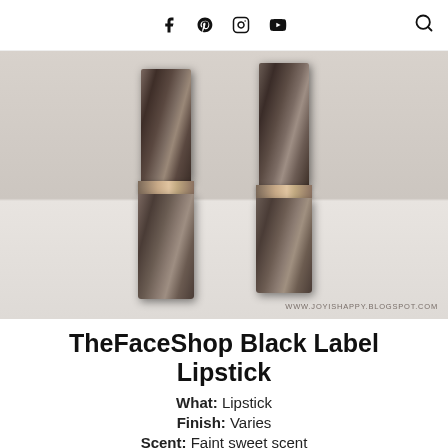f  pinterest  instagram  youtube  search
[Figure (photo): Two TheFaceShop Black Label lipstick tubes in dark bronze/brown metallic finish standing upright against a white background. Both tubes have a shiny reflective cap and a lighter band separating the cap from the body. Watermark reads WWW.JOYISHAPPY.BLOGSPOT.COM]
TheFaceShop Black Label Lipstick
What: Lipstick
Finish: Varies
Scent: Faint sweet scent